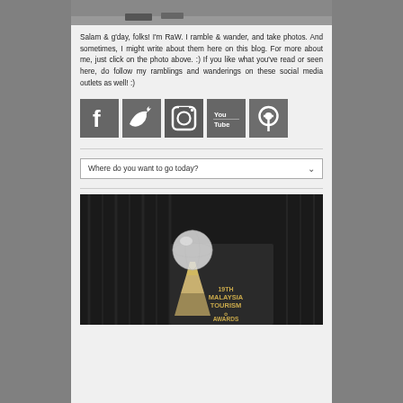[Figure (photo): Top portion of a photo, partially visible, showing what appears to be a person's feet or shoes on a surface]
Salam & g'day, folks! I'm RaW. I ramble & wander, and take photos. And sometimes, I might write about them here on this blog. For more about me, just click on the photo above. :) If you like what you've read or seen here, do follow my ramblings and wanderings on these social media outlets as well! :)
[Figure (illustration): Row of five social media icon buttons: Facebook, Twitter, Instagram, YouTube, Pinterest — all in grayscale square tiles]
Where do you want to go today?
[Figure (photo): Photo of a crystal globe trophy award on a stand against a dark curtain background, with text '19th Malaysia Tourism Awards' visible in gold on the right side]